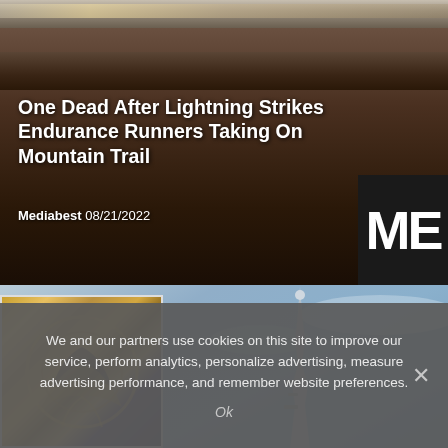[Figure (photo): Dark nighttime aerial background photo of city lights along a ridge, with dark brown and amber tones forming a mountain trail backdrop]
One Dead After Lightning Strikes Endurance Runners Taking On Mountain Trail
Mediabest 08/21/2022
[Figure (photo): Two overlapping photos: left shows a decorative ornate golden and dark carved architectural detail; right shows a tall metal spire or lightning rod against a blue cloudy sky, viewed from below]
We and our partners use cookies on this site to improve our service, perform analytics, personalize advertising, measure advertising performance, and remember website preferences.
Ok